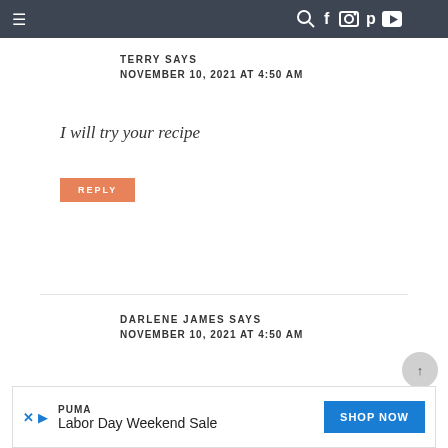≡  🔍 f 📷 p ▶
TERRY SAYS
NOVEMBER 10, 2021 AT 4:50 AM
I will try your recipe
REPLY
DARLENE JAMES SAYS
NOVEMBER 10, 2021 AT 4:50 AM
My Mom died when I was 26. This recipe
[Figure (other): Advertisement banner: PUMA Labor Day Weekend Sale with SHOP NOW button]